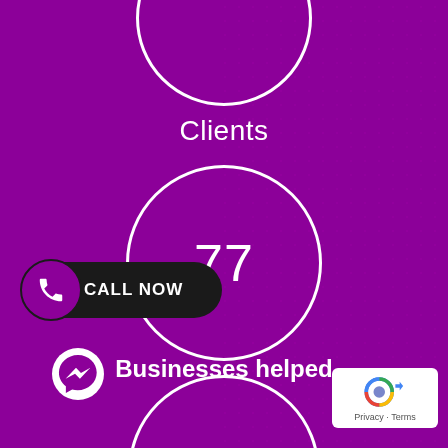[Figure (infographic): Partial white circle at top of page on purple background]
Clients
[Figure (infographic): White circle containing the number 77 on purple background]
[Figure (infographic): CALL NOW button with phone/WhatsApp icon on dark pill-shaped background]
Businesses helped
[Figure (infographic): Partial white circle at bottom containing the number 4,520]
[Figure (logo): Facebook Messenger icon (white on purple circle)]
[Figure (other): Google reCAPTCHA Privacy - Terms badge]